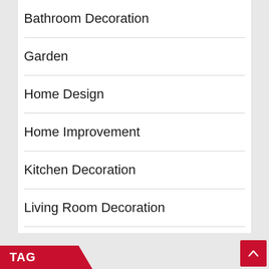Bathroom Decoration
Garden
Home Design
Home Improvement
Kitchen Decoration
Living Room Decoration
Real Estate
TAG